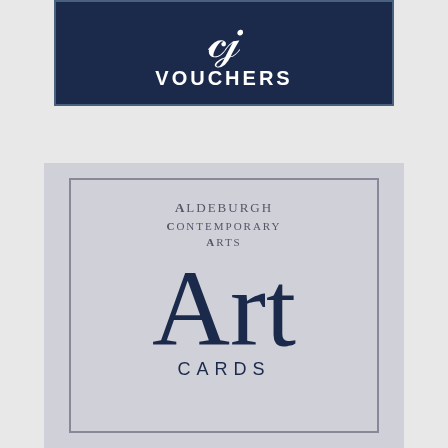[Figure (logo): Dark navy blue rectangular card with script text and 'VOUCHERS' in white capital letters with wide letter-spacing, bordered with a lighter navy inner border]
[Figure (logo): Silver/grey rectangular card featuring 'Aldeburgh Contemporary Arts' in small-caps grey text, large dark navy script word 'Art', and 'CARDS' in spaced capital letters below, with a grey border on silver background]